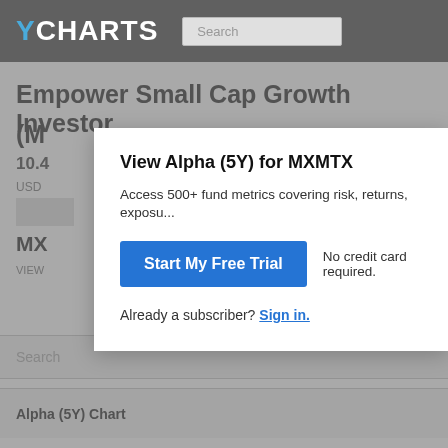YCHARTS
Empower Small Cap Growth Investor (M...
10.4
USD
MX
VIEW
View Alpha (5Y) for MXMTX
Access 500+ fund metrics covering risk, returns, exposu...
Start My Free Trial
No credit card required.
Already a subscriber? Sign in.
Search
Alpha (5Y) Chart